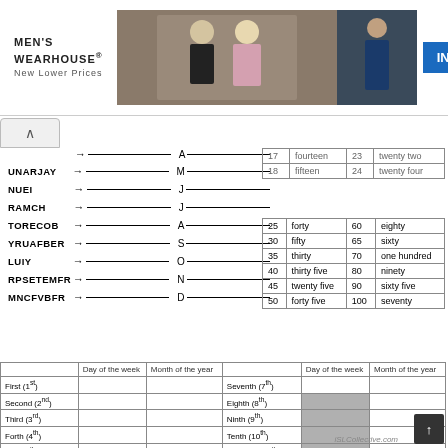[Figure (screenshot): Men's Wearhouse advertisement banner with wedding couple photo and man in blue suit, INFO button]
→ _______________ A _______________
UNARJAY → _______________ M _______________
NUEI → _______________ J _______________
RAMCH → _______________ J _______________
TORECOB → _______________ A _______________
YRUAFBER → _______________ S _______________
LUIY → _______________ O _______________
RPSETEMFR → _______________ N _______________
MNCFVBFR → _______________ D _______________
|  |  |  |  |
| --- | --- | --- | --- |
| 17 | fourteen | 23 | twenty two |
| 18 | fifteen | 24 | twenty four |
|  |  |  |  |
| --- | --- | --- | --- |
| 25 | forty | 60 | eighty |
| 30 | fifty | 65 | sixty |
| 35 | thirty | 70 | one hundred |
| 40 | thirty five | 80 | ninety |
| 45 | twenty five | 90 | sixty five |
| 50 | forty five | 100 | seventy |
|  | Day of the week | Month of the year |  | Day of the week | Month of the year |
| --- | --- | --- | --- | --- | --- |
| First (1st) |  |  | Seventh (7th) |  |  |
| Second (2nd) |  |  | Eighth (8th) | shaded |  |
| Third (3rd) |  |  | Ninth (9th) | shaded |  |
| Forth (4th) |  |  | Tenth (10th) | shaded |  |
| Fifth (5th) |  |  | Eleventh (11th) | shaded |  |
| Sixth (6th) |  |  | Twelfth (12th) | shaded |  |
iSLCollective.com